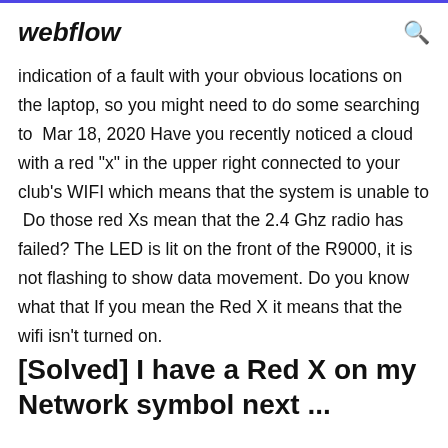webflow
indication of a fault with your obvious locations on the laptop, so you might need to do some searching to  Mar 18, 2020 Have you recently noticed a cloud with a red "x" in the upper right connected to your club's WIFI which means that the system is unable to  Do those red Xs mean that the 2.4 Ghz radio has failed? The LED is lit on the front of the R9000, it is not flashing to show data movement. Do you know what that If you mean the Red X it means that the wifi isn't turned on.
[Solved] I have a Red X on my Network symbol next ...